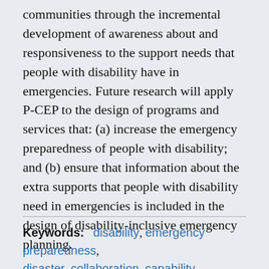communities through the incremental development of awareness about and responsiveness to the support needs that people with disability have in emergencies. Future research will apply P-CEP to the design of programs and services that: (a) increase the emergency preparedness of people with disability; and (b) ensure that information about the extra supports that people with disability need in emergencies is included in the design of disability-inclusive emergency planning.
Keywords: disability, emergency preparedness, disaster, collaboration, capability approach